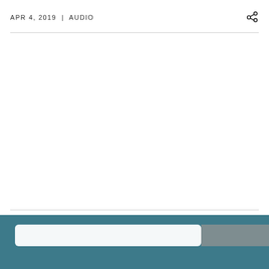APR 4, 2019  |  AUDIO
[Figure (other): Bottom teal/blue bar with a white rounded rectangle element and a grey block, resembling a mobile browser or app navigation bar]